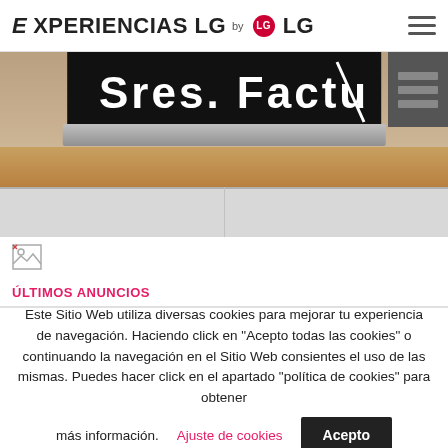EXPERIENCIAS LG by LG
[Figure (photo): Photo of an LG electronic device (silver/black) on a wooden surface, with text partially visible on screen reading 'Sres. Factu...']
[Figure (photo): Broken image icon (small)]
ÚLTIMOS ANUNCIOS
Este Sitio Web utiliza diversas cookies para mejorar tu experiencia de navegación. Haciendo click en "Acepto todas las cookies" o continuando la navegación en el Sitio Web consientes el uso de las mismas. Puedes hacer click en el apartado "política de cookies" para obtener más información.   Ajuste de cookies   Acepto